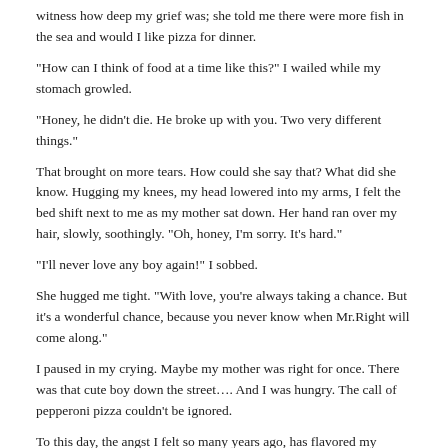witness how deep my grief was; she told me there were more fish in the sea and would I like pizza for dinner.
"How can I think of food at a time like this?" I wailed while my stomach growled.
"Honey, he didn't die. He broke up with you. Two very different things."
That brought on more tears. How could she say that? What did she know. Hugging my knees, my head lowered into my arms, I felt the bed shift next to me as my mother sat down. Her hand ran over my hair, slowly, soothingly. "Oh, honey, I'm sorry. It's hard."
"I'll never love any boy again!" I sobbed.
She hugged me tight. "With love, you're always taking a chance. But it's a wonderful chance, because you never know when Mr.Right will come along."
I paused in my crying. Maybe my mother was right for once. There was that cute boy down the street…. And I was hungry. The call of pepperoni pizza couldn't be ignored.
To this day, the angst I felt so many years ago, has flavored my writings, from short romances to poems, and even mysteries. After all, there isn't anything more emotionally encompassing than the trauma of losing a first love.
Sweet Dreams
by ...